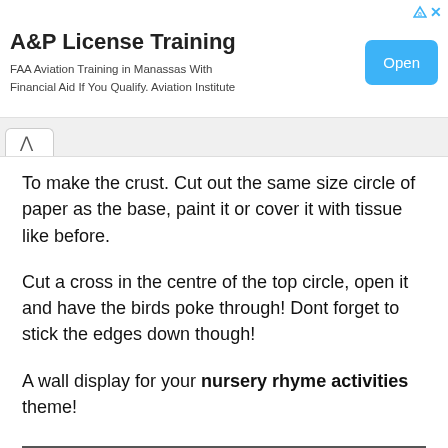[Figure (other): Advertisement banner: A&P License Training. FAA Aviation Training in Manassas With Financial Aid If You Qualify. Aviation Institute. With an Open button.]
To make the crust. Cut out the same size circle of paper as the base, paint it or cover it with tissue like before.
Cut a cross in the centre of the top circle, open it and have the birds poke through! Dont forget to stick the edges down though!
A wall display for your nursery rhyme activities theme!